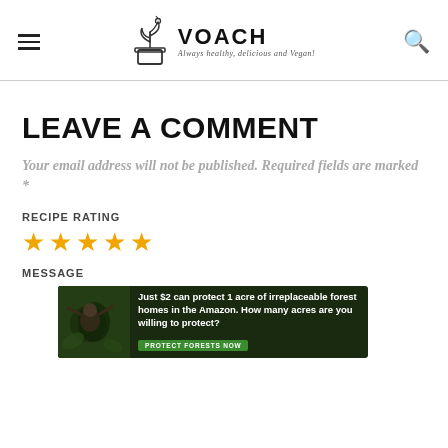[Figure (logo): VOACH logo with plant in pot icon and tagline 'Always healthy, delicious and Vegan!']
LEAVE A COMMENT
Your email address will not be published. Required fields are marked *
RECIPE RATING
[Figure (other): Five empty star rating icons in orange/yellow outline]
MESSAGE
[Figure (other): Advertisement banner: 'Just $2 can protect 1 acre of irreplaceable forest homes in the Amazon. How many acres are you willing to protect?' with PROTECT FORESTS NOW button]